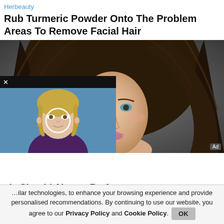Herbeauty
Rub Turmeric Powder Onto The Problem Areas To Remove Facial Hair
[Figure (photo): Portrait photo of a young woman with long wavy dark brown hair against a grey background, looking directly at camera]
[Figure (photo): Video overlay thumbnail showing a middle-aged blonde woman (political figure) against a blue background, with a circular play button overlay, and a black close bar with X at top]
els Should Always Be An
nilar technologies, to enhance your browsing experience and provide personalised recommendations. By continuing to use our website, you agree to our Privacy Policy and Cookie Policy.
OK